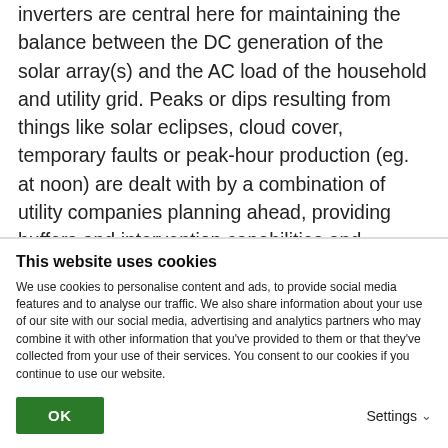inverters are central here for maintaining the balance between the DC generation of the solar array(s) and the AC load of the household and utility grid. Peaks or dips resulting from things like solar eclipses, cloud cover, temporary faults or peak-hour production (eg. at noon) are dealt with by a combination of utility companies planning ahead, providing buffers and intervention capabilities and inverters ensuring they accurately match the
This website uses cookies
We use cookies to personalise content and ads, to provide social media features and to analyse our traffic. We also share information about your use of our site with our social media, advertising and analytics partners who may combine it with other information that you've provided to them or that they've collected from your use of their services. You consent to our cookies if you continue to use our website.